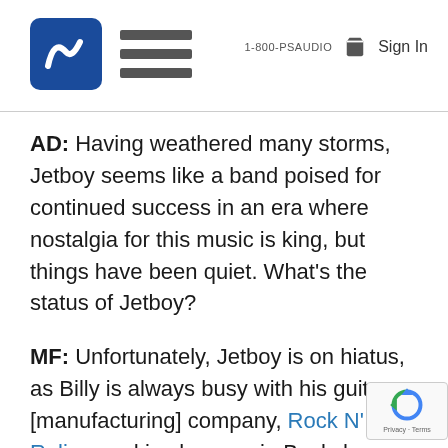PS Audio logo, hamburger menu, 1-800-PSAUDIO, cart icon, Sign In
AD: Having weathered many storms, Jetboy seems like a band poised for continued success in an era where nostalgia for this music is king, but things have been quiet. What's the status of Jetboy?
MF: Unfortunately, Jetboy is on hiatus, as Billy is always busy with his guitar [manufacturing] company, Rock N' Roll Relics, and is also now in Buckcherry, and